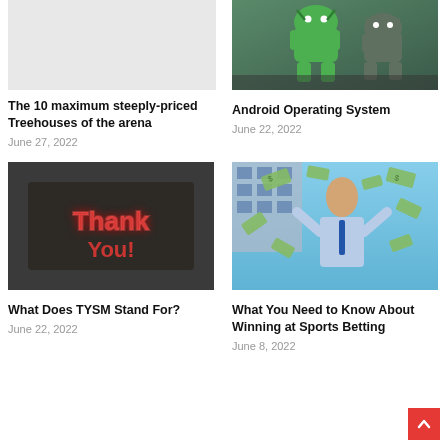[Figure (photo): Blank/light gray image placeholder for treehouse article]
The 10 maximum steeply-priced Treehouses of the arena
June 27, 2022
[Figure (photo): Android robot figurines - green and gray android toy figures]
Android Operating System
June 22, 2022
[Figure (photo): Neon 'Thank You' sign on dark background]
What Does TYSM Stand For?
June 22, 2022
[Figure (photo): Man in suit celebrating with money flying around him]
What You Need to Know About Winning at Sports Betting
June 8, 2022